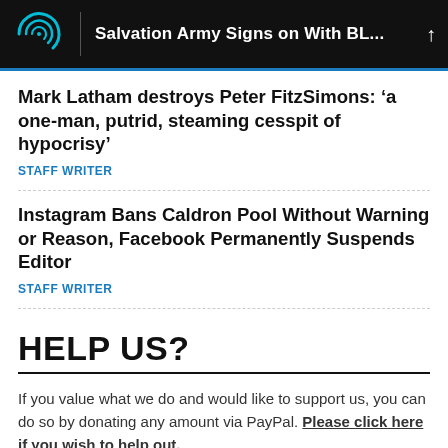Salvation Army Signs on With BL...
Mark Latham destroys Peter FitzSimons: ‘a one-man, putrid, steaming cesspit of hypocrisy’
STAFF WRITER
Instagram Bans Caldron Pool Without Warning or Reason, Facebook Permanently Suspends Editor
STAFF WRITER
HELP US?
If you value what we do and would like to support us, you can do so by donating any amount via PayPal. Please click here if you wish to help out.